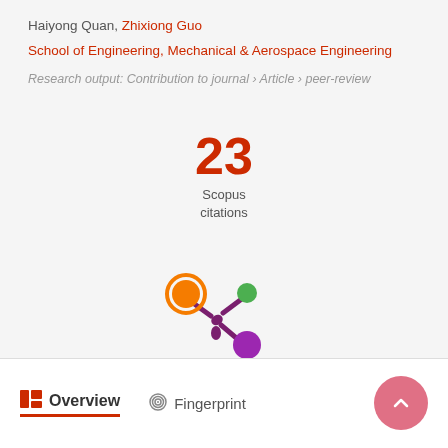Haiyong Quan, Zhixiong Guo
School of Engineering, Mechanical & Aerospace Engineering
Research output: Contribution to journal › Article › peer-review
[Figure (infographic): Scopus citations badge showing 23 citations]
[Figure (logo): Altmetric donut logo with orange, green, and purple circles]
Overview
Fingerprint